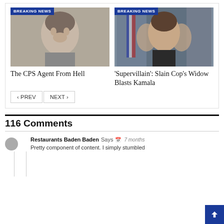[Figure (photo): News card with 'BREAKING NEWS' badge and photo of a woman with short gray hair (mugshot style)]
The CPS Agent From Hell
[Figure (photo): News card with 'BREAKING NEWS' badge and photo of Kamala Harris with hands raised]
'Supervillain': Slain Cop's Widow Blasts Kamala
116 Comments
Restaurants Baden Baden Says 7 months
Pretty component of content. I simply stumbled